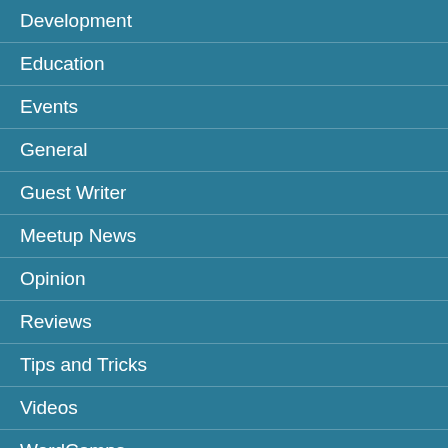Development
Education
Events
General
Guest Writer
Meetup News
Opinion
Reviews
Tips and Tricks
Videos
WordCamps
Writing